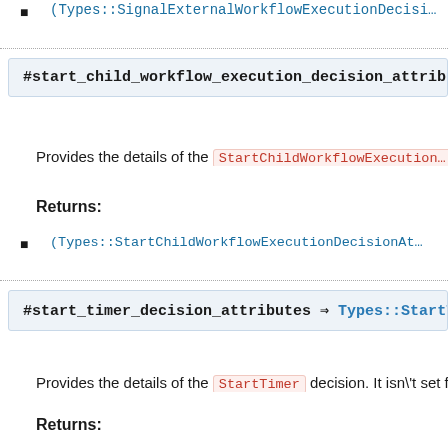(Types::SignalExternalWorkflowExecutionDecisi...
#start_child_workflow_execution_decision_attribu...
Provides the details of the StartChildWorkflowExecution...
Returns:
(Types::StartChildWorkflowExecutionDecisionAt...
#start_timer_decision_attributes ⇒ Types::StartTi...
Provides the details of the StartTimer decision. It isn't set for...
Returns:
(Types::StartTimerDecisionAttributes) — Provides...